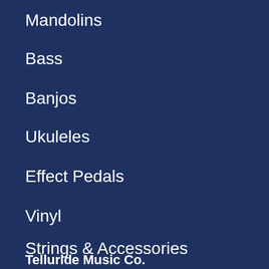Mandolins
Bass
Banjos
Ukuleles
Effect Pedals
Vinyl
Strings & Accessories
Telluride Music Co.